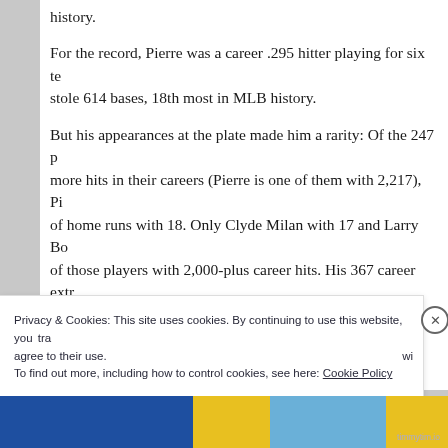history.
For the record, Pierre was a career .295 hitter playing for six te stole 614 bases, 18th most in MLB history.
But his appearances at the plate made him a rarity: Of the 247 p more hits in their careers (Pierre is one of them with 2,217), Pi of home runs with 18. Only Clyde Milan with 17 and Larry Bo of those players with 2,000-plus career hits. His 367 career extr those players with 2,000-plus hits; only Milan with 262 and Ma extra base hits among those players in the 2,000-hit club.
Let’s take a look deeper into those numbers. First, Pierre holds
Privacy & Cookies: This site uses cookies. By continuing to use this website, you agree to their use.
To find out more, including how to control cookies, see here: Cookie Policy